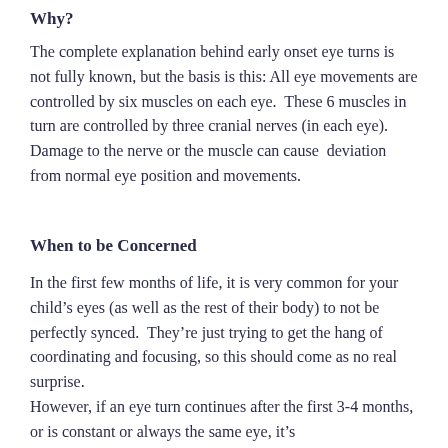Why?
The complete explanation behind early onset eye turns is not fully known, but the basis is this: All eye movements are controlled by six muscles on each eye.  These 6 muscles in turn are controlled by three cranial nerves (in each eye).  Damage to the nerve or the muscle can cause  deviation from normal eye position and movements.
When to be Concerned
In the first few months of life, it is very common for your child’s eyes (as well as the rest of their body) to not be perfectly synced.  They’re just trying to get the hang of coordinating and focusing, so this should come as no real surprise.
However, if an eye turn continues after the first 3-4 months, or is constant or always the same eye, it’s